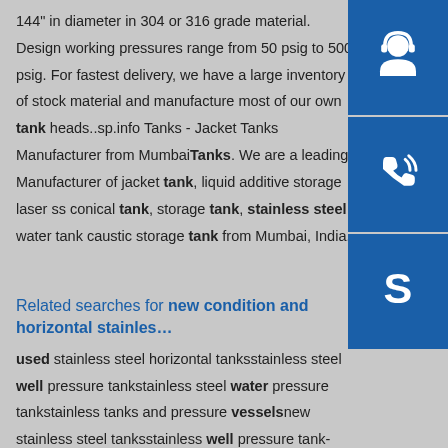144" in diameter in 304 or 316 grade material. Design working pressures range from 50 psig to 500 psig. For fastest delivery, we have a large inventory of stock material and manuf... most of our own tank heads..sp.info Tanks - Jacket Ta... Manufacturer from MumbaiTanks. We are a leading Manufacturer of jacket tank, liquid additive storage las... ss conical tank, storage tank, stainless steel water ta... caustic storage tank from Mumbai, India.
[Figure (other): Three blue sidebar icons: headset/support icon, phone/call icon, and Skype icon arranged vertically]
Related searches for new condition and horizontal stainles...
used stainless steel horizontal tanksstainless steel well pressure tankstainless steel water pressure tankstainless tanks and pressure vesselsnew stainless steel tanksstainless well pressure tankstainless steel pressure vesselstainless steel pressure containers